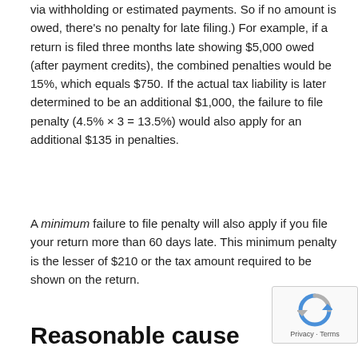via withholding or estimated payments. So if no amount is owed, there's no penalty for late filing.) For example, if a return is filed three months late showing $5,000 owed (after payment credits), the combined penalties would be 15%, which equals $750. If the actual tax liability is later determined to be an additional $1,000, the failure to file penalty (4.5% × 3 = 13.5%) would also apply for an additional $135 in penalties.
A minimum failure to file penalty will also apply if you file your return more than 60 days late. This minimum penalty is the lesser of $210 or the tax amount required to be shown on the return.
Reasonable cause